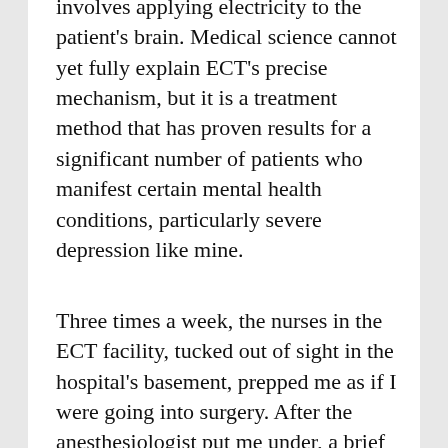involves applying electricity to the patient's brain. Medical science cannot yet fully explain ECT's precise mechanism, but it is a treatment method that has proven results for a significant number of patients who manifest certain mental health conditions, particularly severe depression like mine.
Three times a week, the nurses in the ECT facility, tucked out of sight in the hospital's basement, prepped me as if I were going into surgery. After the anesthesiologist put me under, a brief electrical current was passed between electrodes on my